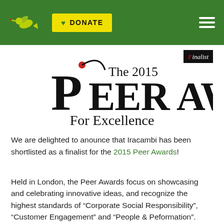DONATE (header navigation bar with hummingbird logo and hamburger menu)
[Figure (logo): The 2015 Peer Awards For Excellence logo with Finalist badge]
We are delighted to anounce that Iracambi has been shortlisted as a finalist for the 2015 Peer Awards!
Held in London, the Peer Awards focus on showcasing and celebrating innovative ideas, and recognize the highest standards of “Corporate Social Responsibility”, “Customer Engagement” and “People & Peformation”.